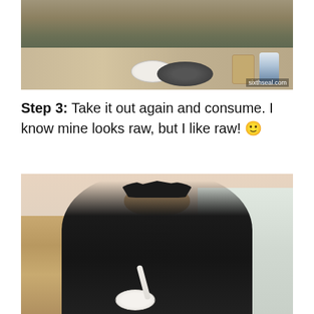[Figure (photo): Photo of a person eating at a table with a bowl of rice, a dark cooking pot, a glass of beer, and a blue can. Watermark reads 'sixthseal.com' in bottom right corner.]
Step 3: Take it out again and consume. I know mine looks raw, but I like raw! 🙂
[Figure (photo): Photo of a young Asian man with spiky black hair wearing a dark shirt, eating from a white bowl with a spoon in a restaurant setting. Shelves with bottles visible in background, wooden furniture on left.]